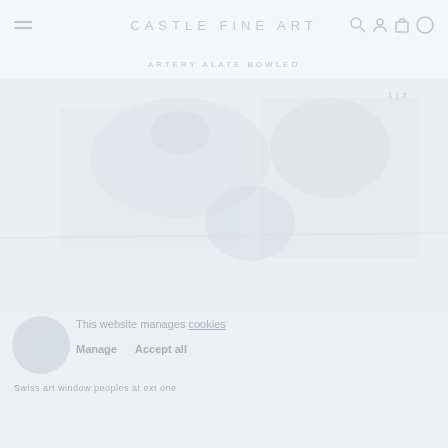CASTLE FINE ART
ARTERY ALATE BOWLED
[Figure (photo): Very faint, washed-out photograph of an artwork or gallery scene — nearly white/light grey, showing subtle forms that could be figures or abstract shapes]
This website manages cookies
Manage   Accept all
Swiss art window people at ext one